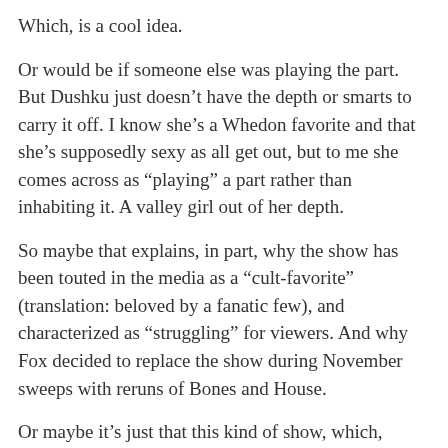Which, is a cool idea.
Or would be if someone else was playing the part. But Dushku just doesn't have the depth or smarts to carry it off. I know she's a Whedon favorite and that she's supposedly sexy as all get out, but to me she comes across as “playing” a part rather than inhabiting it. A valley girl out of her depth.
So maybe that explains, in part, why the show has been touted in the media as a “cult-favorite” (translation: beloved by a fanatic few), and characterized as “struggling” for viewers. And why Fox decided to replace the show during November sweeps with reruns of Bones and House.
Or maybe it's just that this kind of show, which, despite its flaws, is still imminently watchable, can't find an audience. I have two sisters and a brother and I couldn't pay either of them to watch Dollhouse or Firefly or Moonlight or any scifi/paranormal series.
Remember Jericho or Invasion? I loved those shows. They were well-written and spectacularly performed and directed